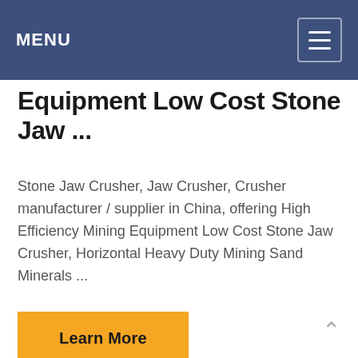MENU
Equipment Low Cost Stone Jaw ...
Stone Jaw Crusher, Jaw Crusher, Crusher manufacturer / supplier in China, offering High Efficiency Mining Equipment Low Cost Stone Jaw Crusher, Horizontal Heavy Duty Mining Sand Minerals ...